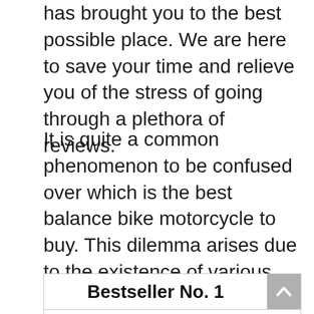has brought you to the best possible place. We are here to save your time and relieve you of the stress of going through a plethora of reviews.
It is quite a common phenomenon to be confused over which is the best balance bike motorcycle to buy. This dilemma arises due to the existence of various types of balance bike motorcycles that are present in the market. To reduce your conundrum, we have prepared a comprehensive guide of how you may pick the top balance bike motorcycles available in the market.
Bestseller No. 1